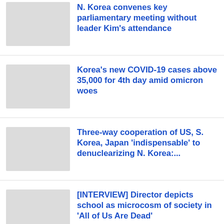N. Korea convenes key parliamentary meeting without leader Kim's attendance
Korea's new COVID-19 cases above 35,000 for 4th day amid omicron woes
Three-way cooperation of US, S. Korea, Japan 'indispensable' to denuclearizing N. Korea:...
[INTERVIEW] Director depicts school as microcosm of society in 'All of Us Are Dead'
Treasure to play first Seoul concerts in April